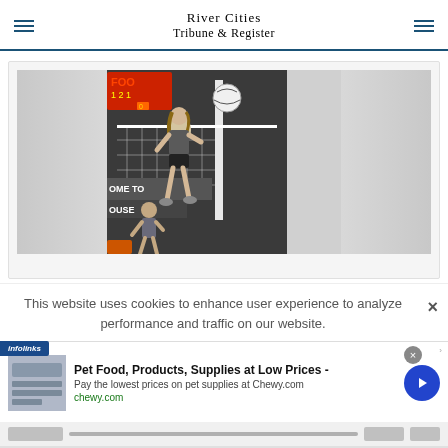River Cities Tribune & Register
[Figure (photo): Volleyball player jumping at the net during a match, with scoreboard visible in background showing 'FOO' and numbers, and a banner reading 'OME TO OUSE']
This website uses cookies to enhance user experience to analyze performance and traffic on our website.
[Figure (infographic): Advertisement: Pet Food, Products, Supplies at Low Prices - Pay the lowest prices on pet supplies at Chewy.com. chewy.com. With infolinks badge and navigation arrow button.]